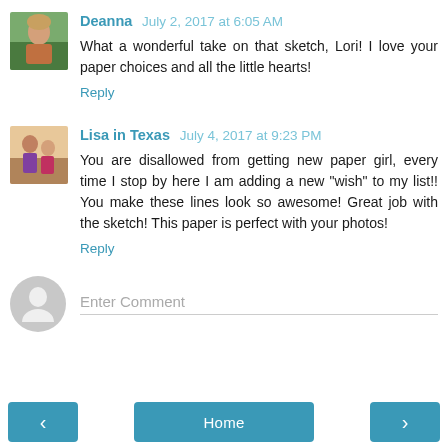[Figure (photo): Small avatar photo of Deanna, a woman with light hair]
Deanna  July 2, 2017 at 6:05 AM
What a wonderful take on that sketch, Lori! I love your paper choices and all the little hearts!
Reply
[Figure (photo): Small avatar photo of Lisa in Texas, two people]
Lisa in Texas  July 4, 2017 at 9:23 PM
You are disallowed from getting new paper girl, every time I stop by here I am adding a new "wish" to my list!! You make these lines look so awesome! Great job with the sketch! This paper is perfect with your photos!
Reply
Enter Comment
‹
Home
›